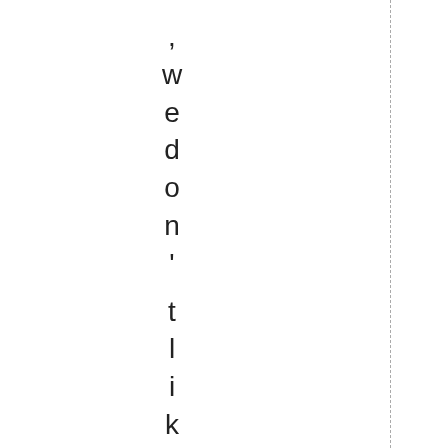, we don' t like going out if pre